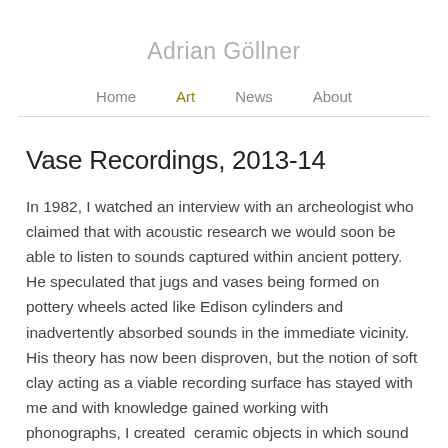Adrian Göllner
Home
Art
News
About
Vase Recordings, 2013-14
In 1982,  I watched an interview with an archeologist who claimed that with acoustic research we would soon be able to listen to sounds captured within ancient pottery. He speculated that jugs and vases being formed on pottery wheels acted like Edison cylinders and inadvertently absorbed sounds in the immediate vicinity. His theory has now been disproven, but the notion of soft clay acting as a viable recording surface has stayed with me and with knowledge gained working with phonographs, I created  ceramic objects in which sound is an inherent part of their form.